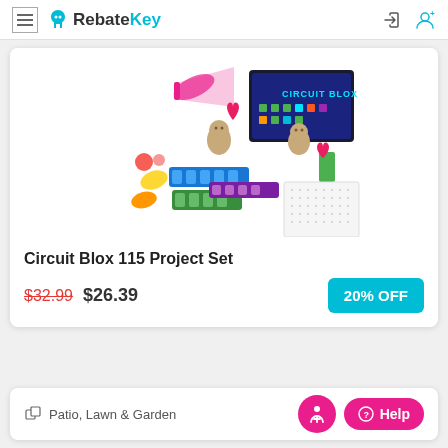RebateKey
[Figure (photo): Circuit Blox 115 Project Set product image showing colorful electronic snap blocks, a Circuit Blox box, and various assembled project examples]
Circuit Blox 115 Project Set
$32.99 $26.39
20% OFF
Patio, Lawn & Garden
Help